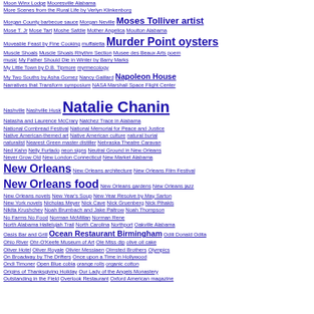Index entries from 'Moon Winx Lodge' through 'Outstanding in the Field / Overlook Restaurant / Oxford American magazine'